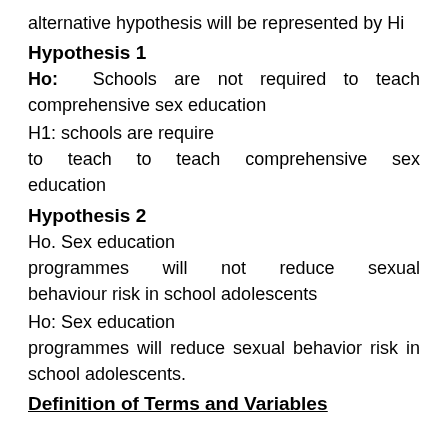alternative hypothesis will be represented by Hi
Hypothesis 1
Ho: Schools are not required to teach comprehensive sex education
H1: schools are require to teach to teach comprehensive sex education
Hypothesis 2
Ho. Sex education programmes will not reduce sexual behaviour risk in school adolescents
Ho: Sex education programmes will reduce sexual behavior risk in school adolescents.
Definition of Terms and Variables